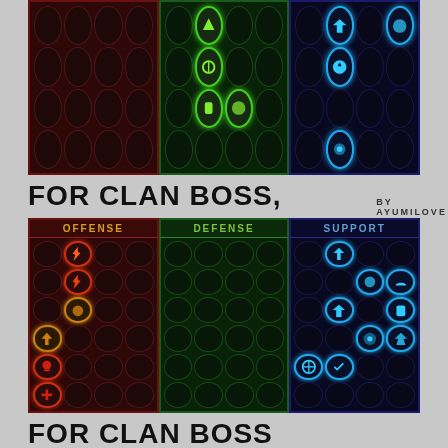[Figure (infographic): Top section showing three panels (Offense/Defense/Support) with skill tree icons in a grid layout. Red panel on left, green in middle with some highlighted bright green icons, blue panel on right with some highlighted bright blue icons.]
FOR CLAN BOSS, DUNGEONS BY AYUMILOVE
[Figure (infographic): Bottom section showing OFFENSE, DEFENSE, SUPPORT panels with skill icons in grid layout. Some icons highlighted in red/orange (offense), green (defense), blue (support) indicating recommended skills for Clan Boss and Dungeons.]
FOR CLAN BOSS